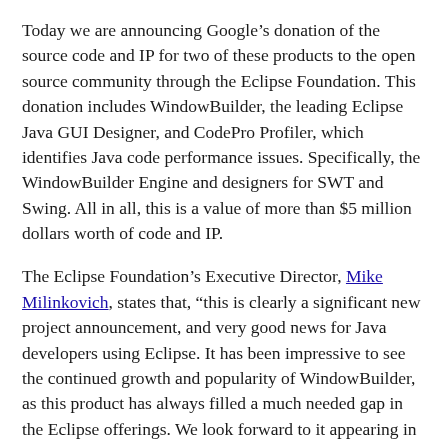Today we are announcing Google’s donation of the source code and IP for two of these products to the open source community through the Eclipse Foundation. This donation includes WindowBuilder, the leading Eclipse Java GUI Designer, and CodePro Profiler, which identifies Java code performance issues. Specifically, the WindowBuilder Engine and designers for SWT and Swing. All in all, this is a value of more than $5 million dollars worth of code and IP.
The Eclipse Foundation’s Executive Director, Mike Milinkovich, states that, “this is clearly a significant new project announcement, and very good news for Java developers using Eclipse. It has been impressive to see the continued growth and popularity of WindowBuilder, as this product has always filled a much needed gap in the Eclipse offerings. We look forward to it appearing in an Eclipse release soon. We’re very pleased with Google’s generous support of Eclipse, and the Java developer community around the world.”
One of the exciting aspects of innovating in the open source arena is that customers benefit from a full community. We are very excited to see the diverse collection of companies and individuals that have already expressed an interest in contributing to these projects. Commercial level support is important to many